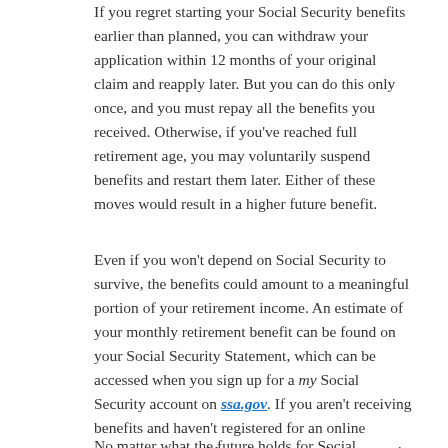If you regret starting your Social Security benefits earlier than planned, you can withdraw your application within 12 months of your original claim and reapply later. But you can do this only once, and you must repay all the benefits you received. Otherwise, if you've reached full retirement age, you may voluntarily suspend benefits and restart them later. Either of these moves would result in a higher future benefit.
Even if you won't depend on Social Security to survive, the benefits could amount to a meaningful portion of your retirement income. An estimate of your monthly retirement benefit can be found on your Social Security Statement, which can be accessed when you sign up for a my Social Security account on ssa.gov. If you aren't receiving benefits and haven't registered for an online account, you should receive an annual statement in the mail starting at age 60.
No matter what the future holds for Social Security...